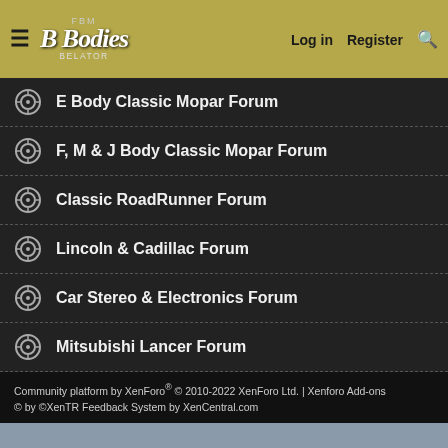B Bodies | Log in | Register
E Body Classic Mopar Forum
F, M & J Body Classic Mopar Forum
Classic RoadRunner Forum
Lincoln & Cadillac Forum
Car Stereo & Electronics Forum
Mitsubishi Lancer Forum
Community platform by XenForo® © 2010-2022 XenForo Ltd. | Xenforo Add-ons © by ©XenTR Feedback System by XenCentral.com
This site uses cookies to help personalise content, tailor your experience and to keep you logged in if you register. By continuing to use this site, you are consenting to our use of cookies.
✓ Accept | Learn more...